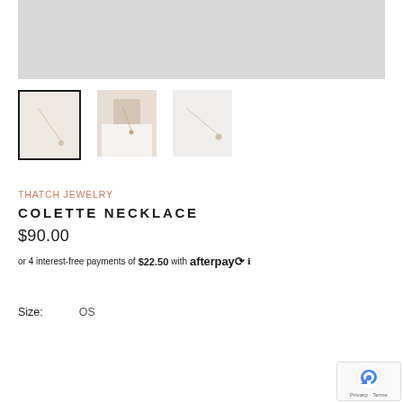[Figure (photo): Light gray placeholder for main product image area]
[Figure (photo): Three product thumbnail images of Colette Necklace: first selected with black border, second shows model wearing necklace, third shows necklace on white background]
THATCH JEWELRY
COLETTE NECKLACE
$90.00
or 4 interest-free payments of $22.50 with afterpay ℹ
Size:   OS